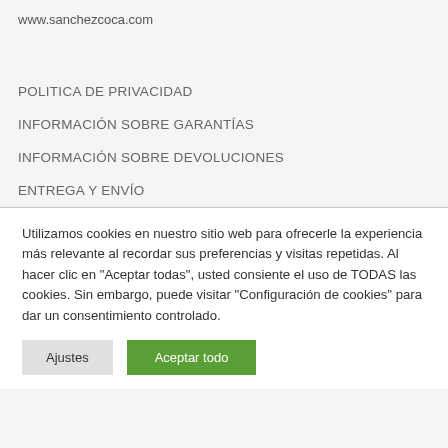www.sanchezcoca.com
POLITICA DE PRIVACIDAD
INFORMACIÓN SOBRE GARANTÍAS
INFORMACIÓN SOBRE DEVOLUCIONES
ENTREGA Y ENVÍO
Utilizamos cookies en nuestro sitio web para ofrecerle la experiencia más relevante al recordar sus preferencias y visitas repetidas. Al hacer clic en "Aceptar todas", usted consiente el uso de TODAS las cookies. Sin embargo, puede visitar "Configuración de cookies" para dar un consentimiento controlado.
Ajustes | Aceptar todo